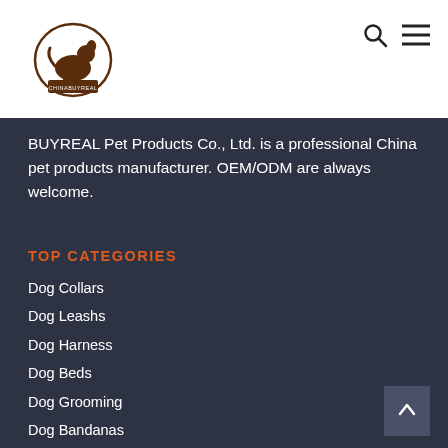[Figure (logo): ChinaBuyReal dog logo with circular badge and dog silhouette]
BUYREAL Pet Products Co., Ltd. is a professional China pet products manufacturer. OEM/ODM are always welcome.
TOP CATEGORIES
Dog Collars
Dog Leashs
Dog Harness
Dog Beds
Dog Grooming
Dog Bandanas
Dog Clothes